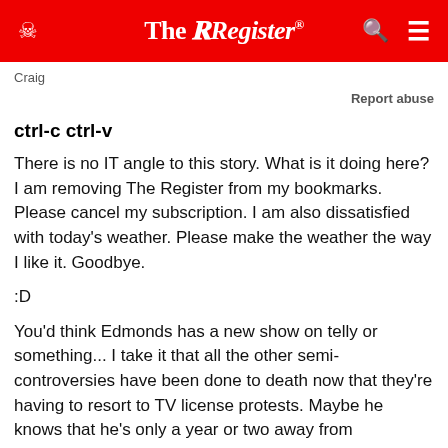The Register
Craig
Report abuse
ctrl-c ctrl-v
There is no IT angle to this story. What is it doing here? I am removing The Register from my bookmarks. Please cancel my subscription. I am also dissatisfied with today's weather. Please make the weather the way I like it. Goodbye.
:D
You'd think Edmonds has a new show on telly or something... I take it that all the other semi-controversies have been done to death now that they're having to resort to TV license protests. Maybe he knows that he's only a year or two away from advertising Stannah Stairlifts.
0  0